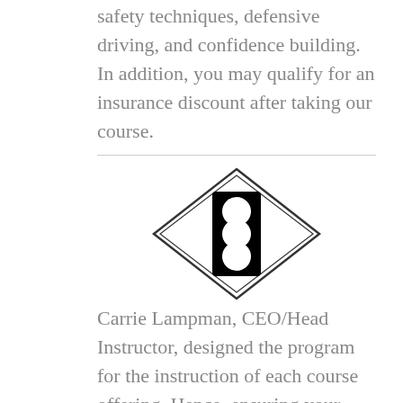safety techniques, defensive driving, and confidence building. In addition, you may qualify for an insurance discount after taking our course.
[Figure (illustration): Diamond-shaped traffic light warning road sign with a black border, containing a vertical black rectangle with three white circles representing traffic signal lights.]
Carrie Lampman, CEO/Head Instructor, designed the program for the instruction of each course offering. Hence, ensuring your experience will be a safe and enriching driving lesson. Carrie